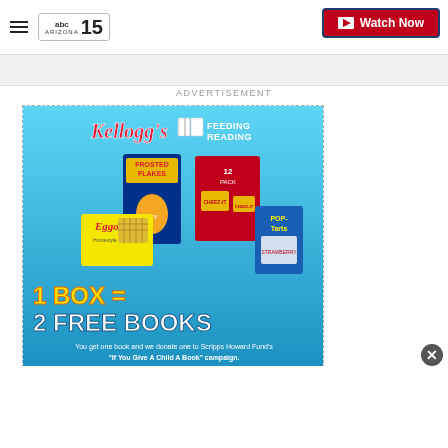ABC15 Arizona - Watch Now
ADVERTISEMENT
[Figure (illustration): Kellogg's Feeding Reading advertisement. Shows Kellogg's logo and 'Feeding Reading' text at top. Features product images including Frosted Flakes cereal box, Cheez-It crackers (12 pack), Eggo Homestyle waffles, and Pop-Tarts. Large text reads '1 BOX = 2 FREE BOOKS'. Subtext: 'You get one book and we donate one to Scripps Howard Fund's "If You Give A Child A Book" campaign.']